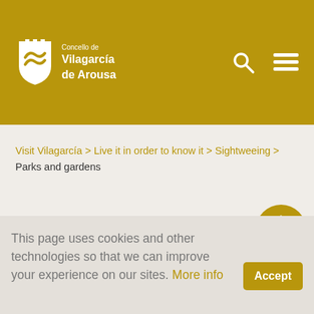Concello de Vilagarcía de Arousa
Visit Vilagarcía > Live it in order to know it > Sightweeing > Parks and gardens
This page uses cookies and other technologies so that we can improve your experience on our sites. More info